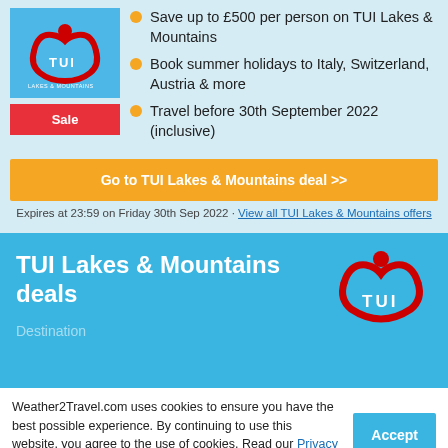[Figure (logo): TUI Lakes & Mountains logo on light blue background]
Save up to £500 per person on TUI Lakes & Mountains
Book summer holidays to Italy, Switzerland, Austria & more
Travel before 30th September 2022 (inclusive)
Go to TUI Lakes & Mountains deal >>
Expires at 23:59 on Friday 30th Sep 2022 · View all TUI Lakes & Mountains offers
TUI Lakes & Mountains deals
Destination
Weather2Travel.com uses cookies to ensure you have the best possible experience. By continuing to use this website, you agree to the use of cookies. Read our Privacy & Cookies Policy for more info.